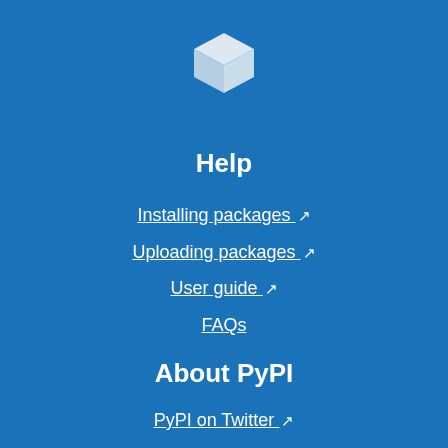[Figure (logo): PyPI white cube logo icon on blue background]
Help
Installing packages ↗
Uploading packages ↗
User guide ↗
FAQs
About PyPI
PyPI on Twitter ↗
Infrastructure dashboard ↗
Package index name retention ↗
Our sponsors